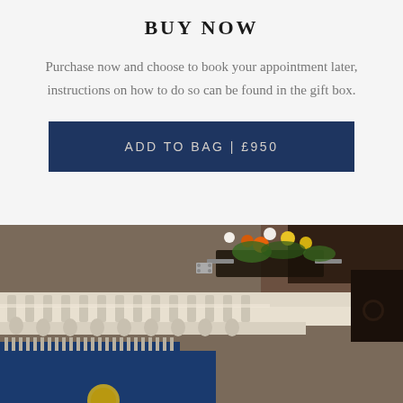BUY NOW
Purchase now and choose to book your appointment later, instructions on how to do so can be found in the gift box.
ADD TO BAG | £950
[Figure (photo): Exterior of an elegant building facade photographed from a low angle, showing ornate white cornicing with decorative brackets/modillions, a window box with colorful flowers (orange, yellow, white), dark wooden architectural details, and a blue shopfront below. The image is taken looking upward at the building's upper story.]